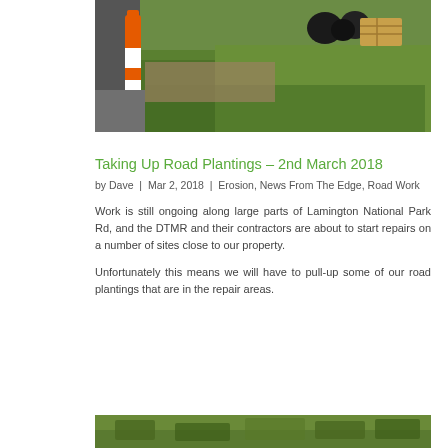[Figure (photo): Outdoor scene with orange traffic bollard/post on left side, grassy area, and black nursery pots visible in the background on a road site]
Taking Up Road Plantings – 2nd March 2018
by Dave  |  Mar 2, 2018  |  Erosion, News From The Edge, Road Work
Work is still ongoing along large parts of Lamington National Park Rd, and the DTMR and their contractors are about to start repairs on a number of sites close to our property.
Unfortunately this means we will have to pull-up some of our road plantings that are in the repair areas.
[Figure (photo): Partial view of road planting area with vegetation and ground cover, cropped at bottom of page]